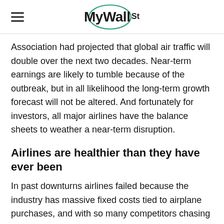MyWallSt
Association had projected that global air traffic will double over the next two decades. Near-term earnings are likely to tumble because of the outbreak, but in all likelihood the long-term growth forecast will not be altered. And fortunately for investors, all major airlines have the balance sheets to weather a near-term disruption.
Airlines are healthier than they have ever been
In past downturns airlines failed because the industry has massive fixed costs tied to airplane purchases, and with so many competitors chasing a limited number of fliers, pricing discipline went out the window.